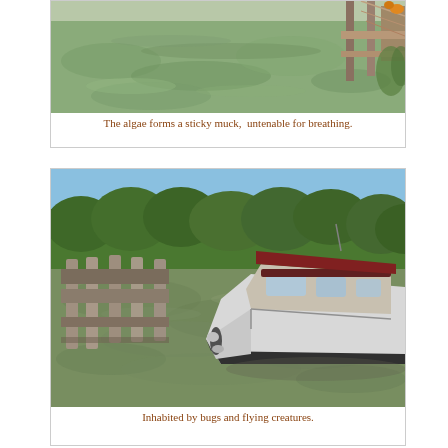[Figure (photo): Aerial/close-up view of algae-covered water near a dock, showing green slimy muck on the water surface with wooden dock structures visible on the right side.]
The algae forms a sticky muck,  untenable for breathing.
[Figure (photo): A white motorboat sitting in algae-covered green water next to a wooden dock with pylons, with green trees/mangroves visible in the background under a blue sky.]
Inhabited by bugs and flying creatures.